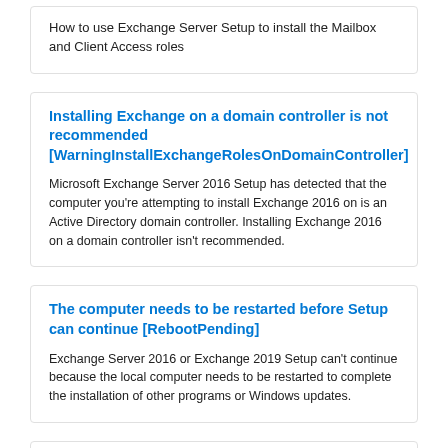How to use Exchange Server Setup to install the Mailbox and Client Access roles
Installing Exchange on a domain controller is not recommended [WarningInstallExchangeRolesOnDomainController]
Microsoft Exchange Server 2016 Setup has detected that the computer you're attempting to install Exchange 2016 on is an Active Directory domain controller. Installing Exchange 2016 on a domain controller isn't recommended.
The computer needs to be restarted before Setup can continue [RebootPending]
Exchange Server 2016 or Exchange 2019 Setup can't continue because the local computer needs to be restarted to complete the installation of other programs or Windows updates.
Install Exchange Mailbox servers using the Setup